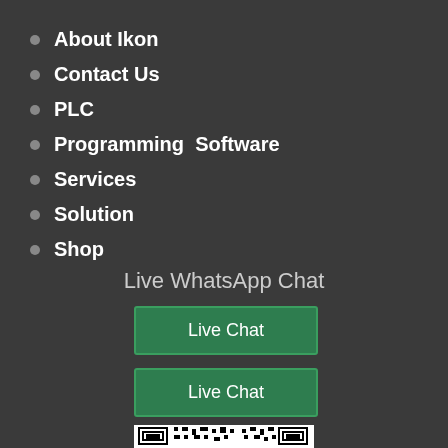About Ikon
Contact Us
PLC
Programming  Software
Services
Solution
Shop
Live WhatsApp Chat
[Figure (other): Live Chat button (green)]
[Figure (other): Live Chat button (green)]
[Figure (other): QR code (partially visible)]